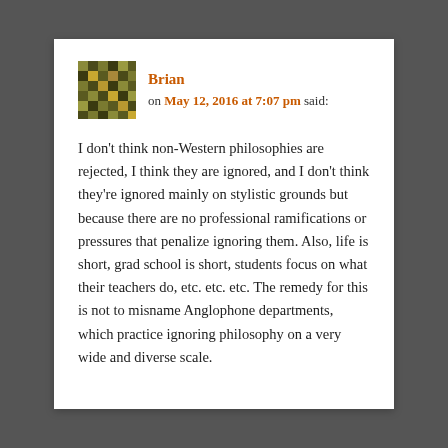Brian on May 12, 2016 at 7:07 pm said:
I don't think non-Western philosophies are rejected, I think they are ignored, and I don't think they're ignored mainly on stylistic grounds but because there are no professional ramifications or pressures that penalize ignoring them. Also, life is short, grad school is short, students focus on what their teachers do, etc. etc. etc. The remedy for this is not to misname Anglophone departments, which practice ignoring philosophy on a very wide and diverse scale.